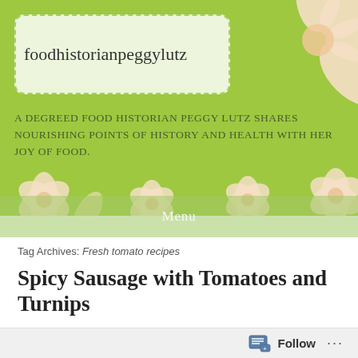foodhistorianpeggylutz
A DEGREED FOOD HISTORIAN PEGGY LUTZ SHARES NOURISHING POINTS OF HISTORY AND HEALTH WITH HER JOY OF FOOD.
Menu
Tag Archives: Fresh tomato recipes
Spicy Sausage with Tomatoes and Turnips
SEPTEMBER 25, 2017  18TH CENTURY FRENCH CUISINE, 19TH CENTURY FRENCH FOODS, BOTANICAL MAKE-UP OF TOMATOES, DIABETIC FRIENDLY RECIPES, ENTREES, GLUTEN-FREE ENTREES, HEALTHY INNOVATIONS, HISTORY OF AMERICAN CUISINE, HISTORY OF EUROPEAN FOODS, HISTORY OF TOMATOES
[Figure (other): Follow button widget in bottom right corner]